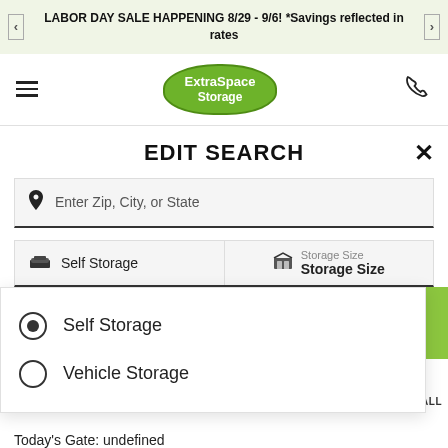LABOR DAY SALE HAPPENING 8/29 - 9/6! *Savings reflected in rates
[Figure (logo): Extra Space Storage logo — green badge with white text 'ExtraSpace Storage']
EDIT SEARCH
Enter Zip, City, or State
Self Storage | Storage Size / Storage Size
Self Storage (selected radio button)
Vehicle Storage (unselected radio button)
Today's Gate: undefined
Today's Office: 09:30 AM - 06:00 PM